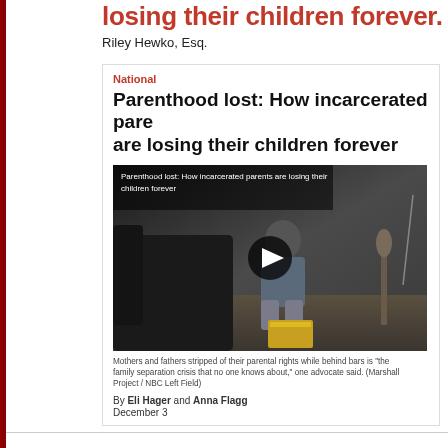losing their children forever.
Riley Hewko, Esq.
National
Parenthood lost: How incarcerated parents are losing their children forever
[Figure (screenshot): Video thumbnail showing an incarcerated man sitting in a room, with play button overlay. Caption reads: Mothers and fathers stripped of their parental rights while behind bars is 'the family separation crisis that no one knows about,' one advocate said. (Marshall Project / NBC Left Field). By Eli Hager and Anna Flagg, December 3]
The Marshall Project released an article on December 2, 2018 t
Parents Are Losing Their Children Forever. The article leads with a hid